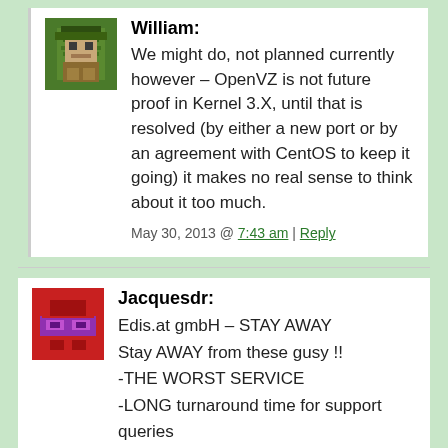William: We might do, not planned currently however – OpenVZ is not future proof in Kernel 3.X, until that is resolved (by either a new port or by an agreement with CentOS to keep it going) it makes no real sense to think about it too much.
May 30, 2013 @ 7:43 am | Reply
Jacquesdr: Edis.at gmbH – STAY AWAY
Stay AWAY from these gusy !!
-THE WORST SERVICE
-LONG turnaround time for support queries
-Figting with customers
-No resolution to queries
-Waiting for refund !
-They have no clue what you even sign up for